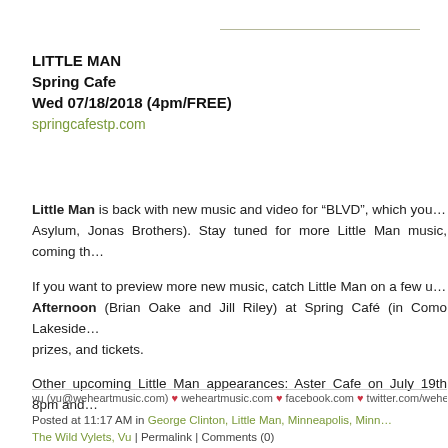LITTLE MAN
Spring Cafe
Wed 07/18/2018 (4pm/FREE)
springcafestp.com
Little Man is back with new music and video for “BLVD”, which you… Asylum, Jonas Brothers). Stay tuned for more Little Man music, coming th…
If you want to preview more new music, catch Little Man on a few u… Afternoon (Brian Oake and Jill Riley) at Spring Café (in Como Lakeside… prizes, and tickets.
Other upcoming Little Man appearances: Aster Cafe on July 19th 8pm and…
vu (vu@weheartmusic.com) ♥ weheartmusic.com ♥ facebook.com ♥ twitter.com/weheart…
Posted at 11:17 AM in George Clinton, Little Man, Minneapolis, Minn… The Wild Vylets, Vu | Permalink | Comments (0)